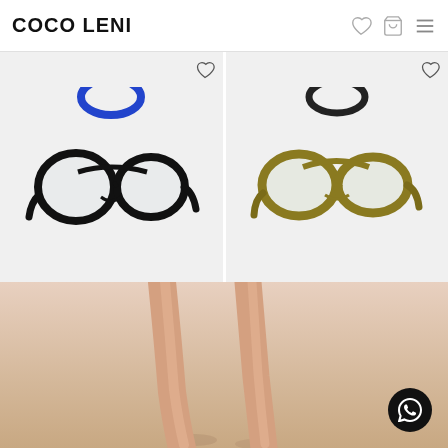COCO LENI
[Figure (photo): Black aviator/round glasses with double bridge on light grey background, with blue circular detail at top]
[Figure (photo): Olive/khaki yellow aviator glasses on light grey background, with black circular detail at top]
[Figure (photo): Person's legs walking on sandy beach, warm pink-beige tones]